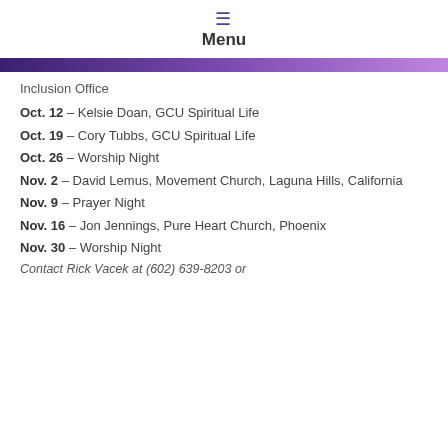Menu
Inclusion Office
Oct. 12 – Kelsie Doan, GCU Spiritual Life
Oct. 19 – Cory Tubbs, GCU Spiritual Life
Oct. 26 – Worship Night
Nov. 2 – David Lemus, Movement Church, Laguna Hills, California
Nov. 9 – Prayer Night
Nov. 16 – Jon Jennings, Pure Heart Church, Phoenix
Nov. 30 – Worship Night
Contact Rick Vacek at (602) 639-8203 or